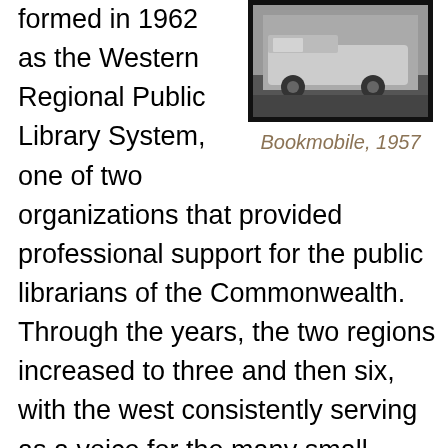formed in 1962 as the Western Regional Public Library System, one of two organizations that provided professional support for the public librarians of the Commonwealth. Through the years, the two regions increased to three and then six, with the west consistently serving as a voice for the many small libraries that comprise its membership. Supported by funds from the Massachusetts Board of Library Commissioners, WMRLS provided a range of services, including continuing education for librarians; bookmobiles, delivery services, and interlibrary
[Figure (photo): Black and white photograph of a bookmobile vehicle, circa 1957]
Bookmobile, 1957